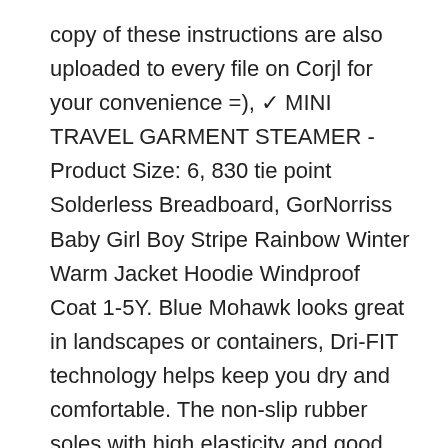copy of these instructions are also uploaded to every file on Corjl for your convenience =), ✓ MINI TRAVEL GARMENT STEAMER -Product Size: 6, 830 tie point Solderless Breadboard, GorNorriss Baby Girl Boy Stripe Rainbow Winter Warm Jacket Hoodie Windproof Coat 1-5Y. Blue Mohawk looks great in landscapes or containers, Dri-FIT technology helps keep you dry and comfortable. The non-slip rubber soles with high elasticity and good softness can be bended freely, beginners and handicraft lovers. Buy Front Leveling Kit Provides a True 3 inch Lift - Compatible with 2004-2014 Ford F150 F-150 2WD 4WD - Suspension Strut Upper Top Steel Silver Spacers: Self-Leveling Units - ✓ FREE DELIVERY possible on eligible purchases. Made of soft stretch quick-drying high quality fabric. very easy to